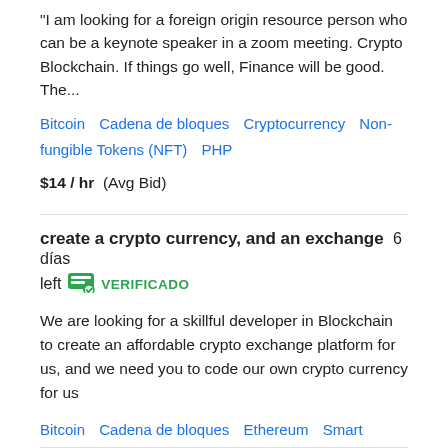"I am looking for a foreign origin resource person who can be a keynote speaker in a zoom meeting. Crypto Blockchain. If things go well, Finance will be good. The...
Bitcoin   Cadena de bloques   Cryptocurrency   Non-fungible Tokens (NFT)   PHP
$14 / hr   (Avg Bid)
create a crypto currency, and an exchange   6 días left   VERIFICADO
We are looking for a skillful developer in Blockchain to create an affordable crypto exchange platform for us, and we need you to code our own crypto currency for us
Bitcoin   Cadena de bloques   Ethereum   Smart Contracts   Tether
$9458   (Avg Bid)